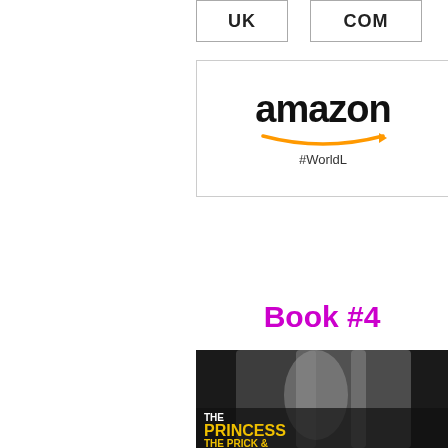[Figure (other): UK button - rectangular button with label UK]
[Figure (other): COM button - rectangular button with label COM]
[Figure (logo): Amazon logo with smile arrow and #WorldL hashtag text]
Book #4
[Figure (photo): Book cover for 'The Princess, The Prick & The Priest' by Ella Frank - black and white photo of shirtless men with yellow title text]